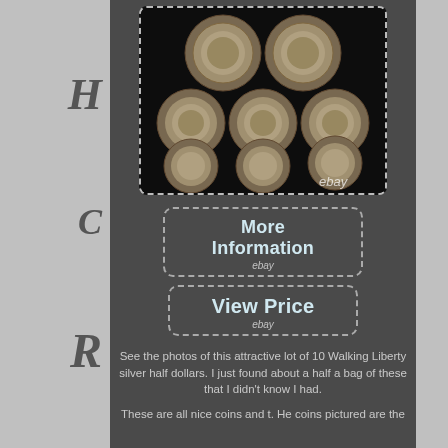[Figure (photo): A photo of 8 Walking Liberty silver half dollar coins arranged in a grid on a dark background, showing the reverse (eagle) side. An eBay watermark appears in the lower right. The image is framed with a dashed border.]
More Information
ebay
View Price
ebay
See the photos of this attractive lot of 10 Walking Liberty silver half dollars. I just found about a half a bag of these that I didn't know I had.
These are all nice coins and t. He coins pictured are the